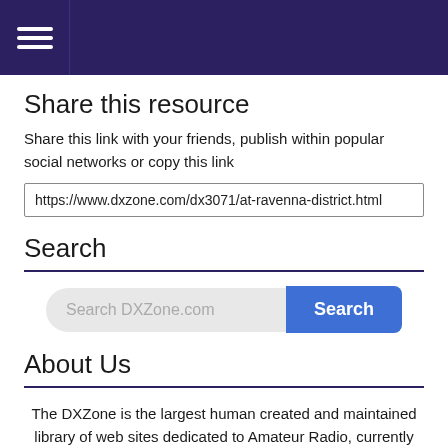Share this resource
Share this link with your friends, publish within popular social networks or copy this link
https://www.dxzone.com/dx3071/at-ravenna-district.html
Search
Search DXZone.com
About Us
The DXZone is the largest human created and maintained library of web sites dedicated to Amateur Radio, currently lists 20.000+ links organized into 600+ categories. Real Hams review new sites every day since 1998, for potential inclusion in the Directory, and to evaluate the best place to list them.